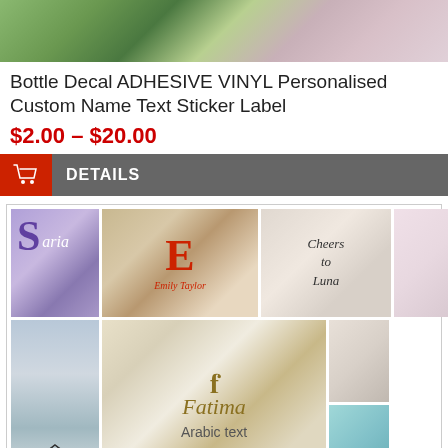[Figure (photo): Top banner photo showing gift/product items with floral and colorful background]
Bottle Decal ADHESIVE VINYL Personalised Custom Name Text Sticker Label
$2.00 – $20.00
DETAILS
[Figure (photo): Gallery of product images showing various personalised vinyl decal stickers on bottles, notebooks, glasses, and frames with names like Fatima, Luna, and decorative letters]